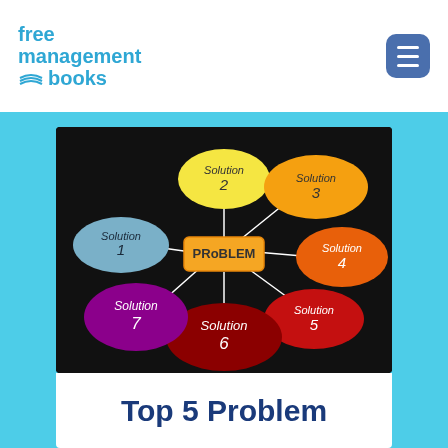free management books
[Figure (infographic): Mind map diagram on black background showing a central orange rectangle labeled PROBLEM with arrows pointing to 7 surrounding ellipses: Solution 1 (blue-grey, left), Solution 2 (yellow, top center), Solution 3 (orange, top right), Solution 4 (orange-red, right), Solution 5 (red, bottom right), Solution 6 (dark red/maroon, bottom center), Solution 7 (purple, bottom left)]
Top 5 Problem